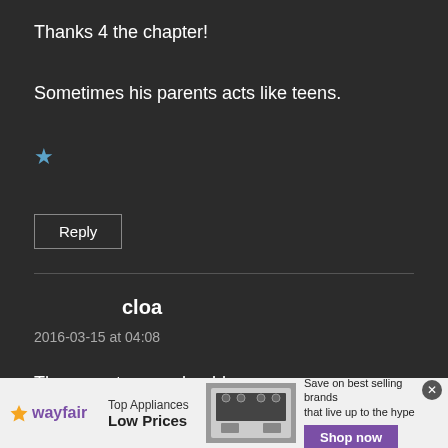Thanks 4 the chapter!
Sometimes his parents acts like teens.
★
Reply
cloa
2016-03-15 at 04:08
The parents are adorable~
[Figure (infographic): Wayfair advertisement banner: logo, 'Top Appliances Low Prices', appliance image, 'Save on best selling brands that live up to the hype', and a purple 'Shop now' button]